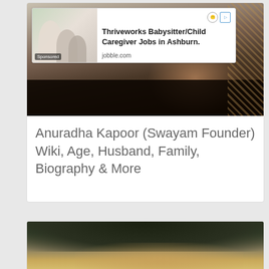[Figure (screenshot): Mobile web page screenshot showing a search result card for 'Anuradha Kapoor (Swayam Founder) Wiki, Age, Husband, Family, Biography & More' with a photo of a woman and an advertisement overlay for 'Thriveworks Babysitter/Child Caregiver Jobs in Ashburn.' from jobble.com]
Anuradha Kapoor (Swayam Founder) Wiki, Age, Husband, Family, Biography & More
[Figure (screenshot): Second search result card showing a close-up photo of a person's head/hair, with an advertisement below labeled 'Advertisement' for 'MyEyeDR General Operational Manager Jobs i...' from jobble.com with 'Sponsored' label]